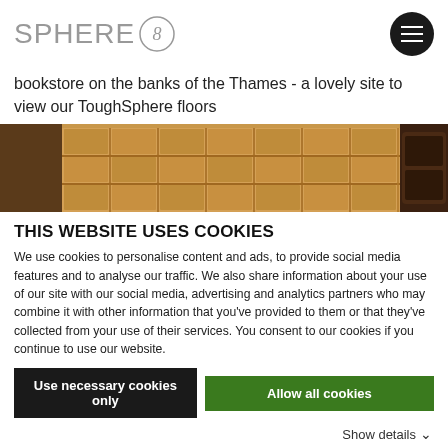[Figure (logo): Sphere 8 logo with grey text 'SPHERE' and a circular icon with the number 8]
bookstore on the banks of the Thames - a lovely site to view our ToughSphere floors
[Figure (photo): Interior photo of a bookstore showing wooden shelving units with compartments and a dark wooden cabinet on the right]
THIS WEBSITE USES COOKIES
We use cookies to personalise content and ads, to provide social media features and to analyse our traffic. We also share information about your use of our site with our social media, advertising and analytics partners who may combine it with other information that you've provided to them or that they've collected from your use of their services. You consent to our cookies if you continue to use our website.
Use necessary cookies only
Allow all cookies
Show details